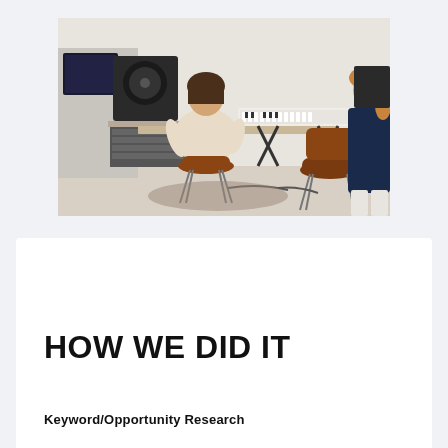[Figure (photo): Two people in a music studio. One person sits at a desk with audio equipment, speakers, and a monitor, viewed from behind. A second person (woman with curly hair, dark top) stands to the right. Two Eames-style molded plywood chairs are in the foreground.]
HOW WE DID IT
Keyword/Opportunity Research